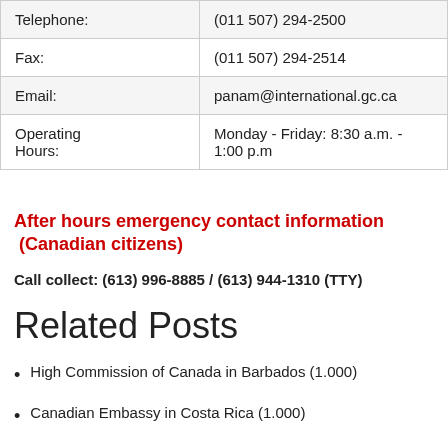| Telephone: | (011 507) 294-2500 |
| Fax: | (011 507) 294-2514 |
| Email: | panam@international.gc.ca |
| Operating Hours: | Monday - Friday: 8:30 a.m. - 1:00 p.m |
After hours emergency contact information (Canadian citizens)
Call collect: (613) 996-8885 / (613) 944-1310 (TTY)
Related Posts
High Commission of Canada in Barbados (1.000)
Canadian Embassy in Costa Rica (1.000)
Canadian Embassy in Cuba (1.000)
Canadian Embassy in Dominican Republic (1.000)